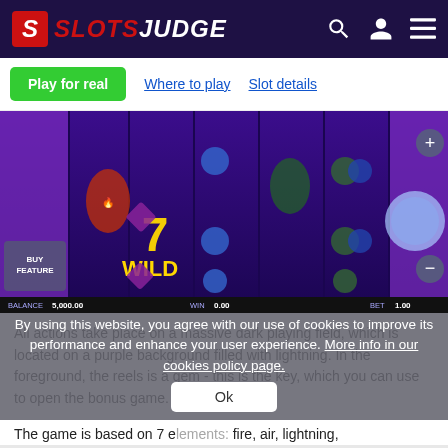SLOTSJUDGE
Play for real  Where to play  Slot details
[Figure (screenshot): Screenshot of a slot game with dark purple background, featuring characters, gem symbols, a '7 WILD' symbol, 'BUY FEATURE' button. Bottom shows BALANCE 5,000.00, WIN 0.00, BET 1.00]
All actions take place on a massive dark playing field, which is located on a purple background filled with lightning. In the foreground, the reels is a gem - this is the key, which you can use to open the bonus game.
By using this website, you agree with our use of cookies to improve its performance and enhance your user experience. More info in our cookies policy page.
Ok
The game is based on 7 elements: fire, air, lightning,